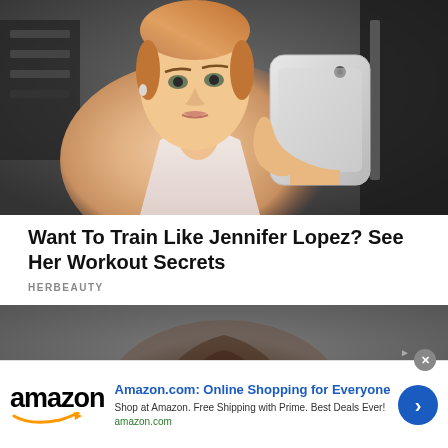[Figure (photo): Woman taking a gym mirror selfie with a white smartphone, wearing a white halter top, hair pulled back, gym equipment visible in background]
Want To Train Like Jennifer Lopez? See Her Workout Secrets
HERBEAUTY
[Figure (photo): Partial view of a person with dark brown hair against a gray background]
Amazon.com: Online Shopping for Everyone
Shop at Amazon. Free Shipping with Prime. Best Deals Ever!
amazon.com